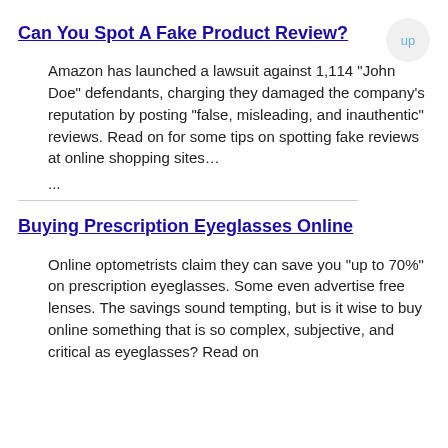Can You Spot A Fake Product Review?
Amazon has launched a lawsuit against 1,114 “John Doe” defendants, charging they damaged the company’s reputation by posting “false, misleading, and inauthentic” reviews. Read on for some tips on spotting fake reviews at online shopping sites…
...
Buying Prescription Eyeglasses Online
Online optometrists claim they can save you “up to 70%” on prescription eyeglasses. Some even advertise free lenses. The savings sound tempting, but is it wise to buy online something that is so complex, subjective, and critical as eyeglasses? Read on